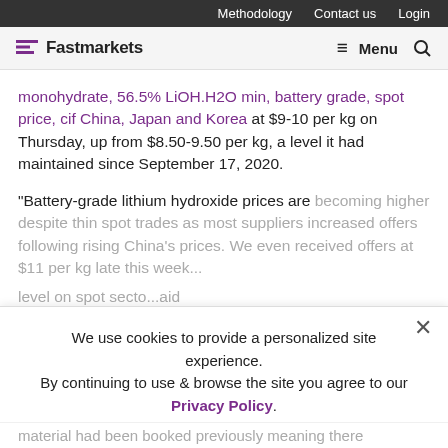Methodology  Contact us  Login
Fastmarkets  Menu
monohydrate, 56.5% LiOH.H2O min, battery grade, spot price, cif China, Japan and Korea at $9-10 per kg on Thursday, up from $8.50-9.50 per kg, a level it had maintained since September 17, 2020.
“Battery-grade lithium hydroxide prices are becoming higher despite thin spot trades as most suppliers increased offers following rising China’s prices. We even received offers at $11 per kg late this week... level on spot sector... aid
We use cookies to provide a personalized site experience.
By continuing to use & browse the site you agree to our Privacy Policy.
Proceed
material had been booked previously meaning there